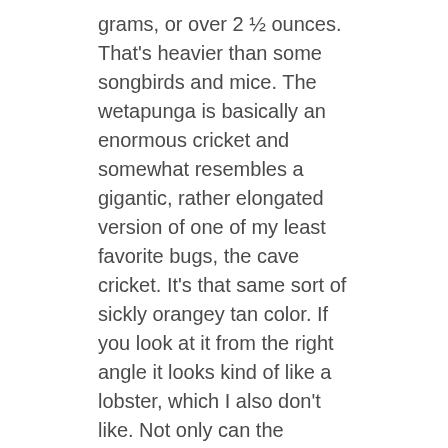grams, or over 2 ½ ounces. That's heavier than some songbirds and mice. The wetapunga is basically an enormous cricket and somewhat resembles a gigantic, rather elongated version of one of my least favorite bugs, the cave cricket. It's that same sort of sickly orangey tan color. If you look at it from the right angle it looks kind of like a lobster, which I also don't like. Not only can the wetapunga be really heavy, it's also long—not stick insect long, but a respectable four inches or so long, or 10 cm, and even longer if you count the stretched-out legs.
It eats plants and is mostly nocturnal.
Like the Lord Howe Island phasmid, the wetapunga is vulnerable to introduced predators. It only survives in the wild on Little Barrier Island, and is now the subject of a successful captive breeding program, with the young used for 100 million years it